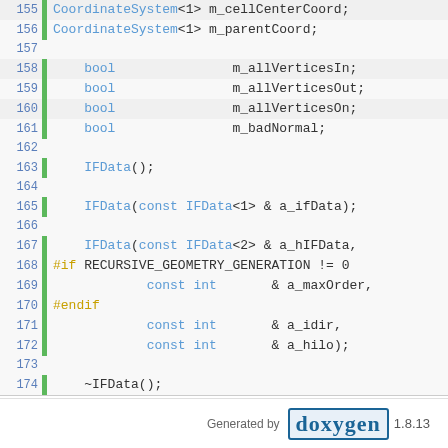[Figure (screenshot): Source code listing lines 155-185 showing C++ class member declarations and constructor/destructor signatures with preprocessor directives, displayed in a Doxygen-generated HTML code view with syntax highlighting and line numbers.]
Generated by doxygen 1.8.13